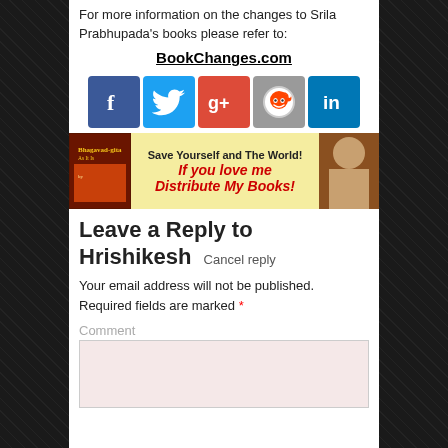For more information on the changes to Srila Prabhupada’s books please refer to: BookChanges.com
[Figure (infographic): Row of social media icons: Facebook, Twitter, Google+, Reddit, LinkedIn]
[Figure (infographic): Banner: Bhagavad-gita book image on left, yellow center with text 'Save Yourself and The World! If you love me Distribute My Books!', and a person's photo on right]
Leave a Reply to Hrishikesh  Cancel reply
Your email address will not be published. Required fields are marked *
Comment